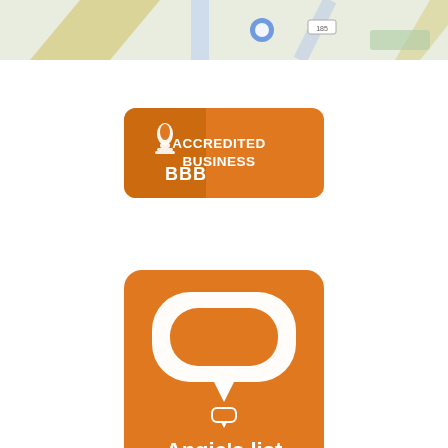[Figure (map): Google Maps strip showing roads and landmarks]
[Figure (logo): Better Business Bureau (BBB) Accredited Business logo — orange rounded rectangle badge]
[Figure (logo): Angie's List logo — orange rounded square with white speech bubble icon and text 'Angie's list']